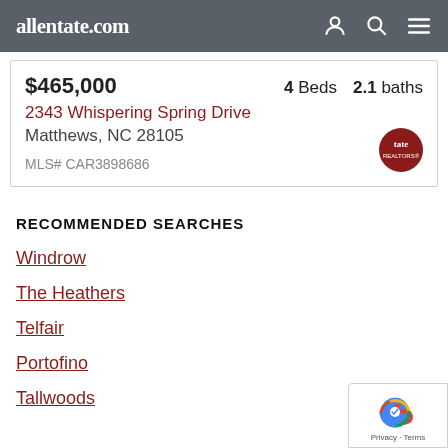allentate.com
$465,000   4 Beds   2.1 baths
2343 Whispering Spring Drive
Matthews, NC 28105
MLS# CAR3898686
RECOMMENDED SEARCHES
Windrow
The Heathers
Telfair
Portofino
Tallwoods